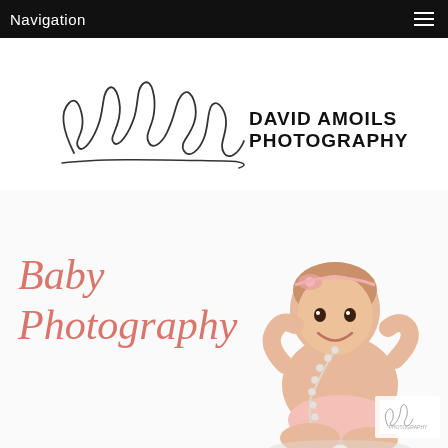Navigation
[Figure (logo): David Amoils Photography logo: handwritten signature on left, bold text 'DAVID AMOILS PHOTOGRAPHY' on right]
[Figure (photo): Baby sitting upright on white background wearing pink headband and diaper, holding pearl necklace, smiling. Italic pink text overlay reads 'Baby Photography'. Watermark/logo in bottom right corner.]